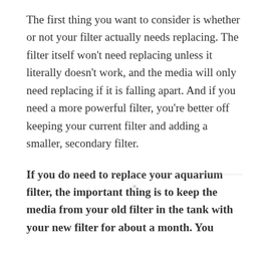The first thing you want to consider is whether or not your filter actually needs replacing. The filter itself won't need replacing unless it literally doesn't work, and the media will only need replacing if it is falling apart. And if you need a more powerful filter, you're better off keeping your current filter and adding a smaller, secondary filter.
If you do need to replace your aquarium filter, the important thing is to keep the media from your old filter in the tank with your new filter for about a month. You